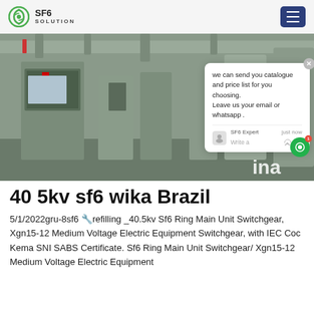SF6 SOLUTION
[Figure (photo): Industrial electrical switchgear facility interior with workers in blue uniforms standing in background; large metal equipment cabinets visible. Chat popup overlay with message: 'we can send you catalogue and price list for you choosing. Leave us your email or whatsapp .']
40 5kv sf6 wika Brazil
5/1/2022gru-8sf6 🔧refilling _40.5kv Sf6 Ring Main Unit Switchgear, Xgn15-12 Medium Voltage Electric Equipment Switchgear, with IEC Coc Kema SNI SABS Certificate. Sf6 Ring Main Unit Switchgear/ Xgn15-12 Medium Voltage Electric Equipment